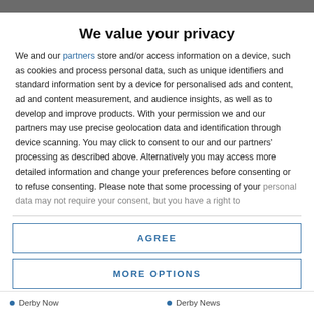We value your privacy
We and our partners store and/or access information on a device, such as cookies and process personal data, such as unique identifiers and standard information sent by a device for personalised ads and content, ad and content measurement, and audience insights, as well as to develop and improve products. With your permission we and our partners may use precise geolocation data and identification through device scanning. You may click to consent to our and our partners' processing as described above. Alternatively you may access more detailed information and change your preferences before consenting or to refuse consenting. Please note that some processing of your personal data may not require your consent, but you have a right to
AGREE
MORE OPTIONS
Derby Now  Derby News